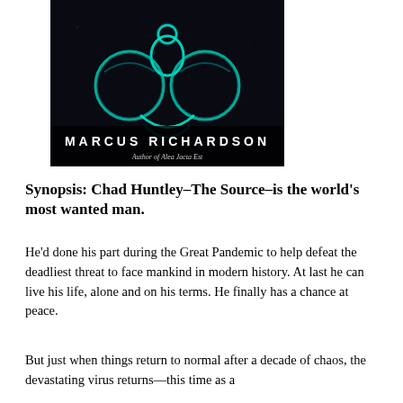[Figure (illustration): Book cover for a novel by Marcus Richardson. Dark background with glowing teal/green biohazard-like symbol. Author name 'MARCUS RICHARDSON' in large uppercase letters. Subtitle 'Author of Alea Jacta Est' in italic text below.]
Synopsis: Chad Huntley–The Source–is the world's most wanted man.
He'd done his part during the Great Pandemic to help defeat the deadliest threat to face mankind in modern history. At last he can live his life, alone and on his terms. He finally has a chance at peace.
But just when things return to normal after a decade of chaos, the devastating virus returns—this time as a